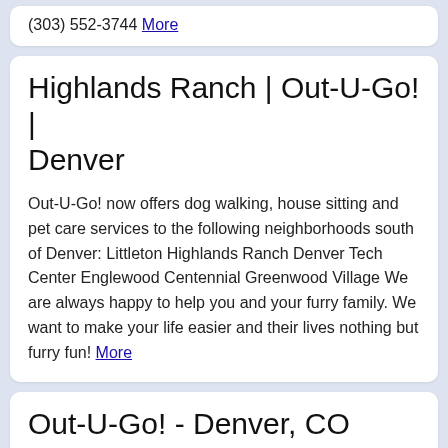(303) 552-3744 More
Highlands Ranch | Out-U-Go! | Denver
Out-U-Go! now offers dog walking, house sitting and pet care services to the following neighborhoods south of Denver: Littleton Highlands Ranch Denver Tech Center Englewood Centennial Greenwood Village We are always happy to help you and your furry family. We want to make your life easier and their lives nothing but furry fun! More
Out-U-Go! - Denver, CO
65 reviews of Out-U-Go! "We have only used them for our cats, but they are awesome. They leave